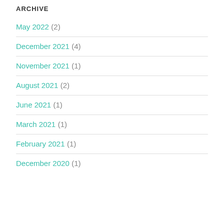ARCHIVE
May 2022 (2)
December 2021 (4)
November 2021 (1)
August 2021 (2)
June 2021 (1)
March 2021 (1)
February 2021 (1)
December 2020 (1)